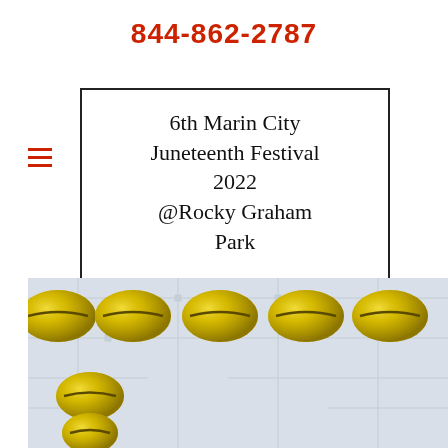844-862-2787
6th Marin City Juneteenth Festival 2022 @Rocky Graham Park
[Figure (illustration): Decorative image of gold cowrie shells arranged in a horizontal row on a light background with circuit board pattern motifs. Below the row, two additional cowrie shells are visible, stacked vertically.]